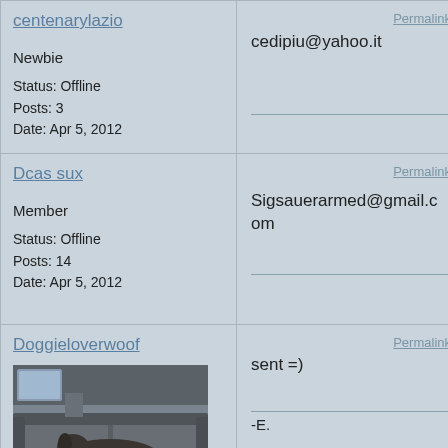centenarylazio
Permalink
Newbie
Status: Offline
Posts: 3
Date: Apr 5, 2012
cedipiu@yahoo.it
Dcas sux
Permalink
Member
Status: Offline
Posts: 14
Date: Apr 5, 2012
Sigsauerarmed@gmail.com
Doggieloverwoof
Permalink
[Figure (photo): Photo of a dog lying on a dark couch/sofa in a living room]
sent =)
-E.